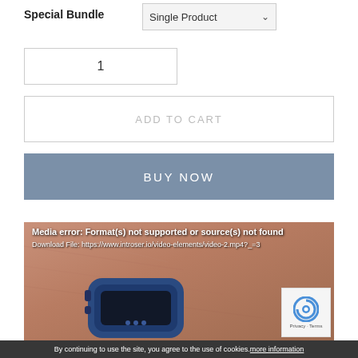Special Bundle
[Figure (screenshot): Dropdown selector showing 'Single Product' option]
[Figure (screenshot): Quantity input box showing value 1]
[Figure (screenshot): ADD TO CART button (outlined, light gray text)]
[Figure (screenshot): BUY NOW button (blue-gray background, white text)]
[Figure (photo): Media error overlay on image of a blue fitness tracker/smartwatch worn on a wrist. Error text: 'Media error: Format(s) not supported or source(s) not found'. Download File: https://www.introser.io/video-elements/video-2.mp4?_=3]
By continuing to use the site, you agree to the use of cookies. more information